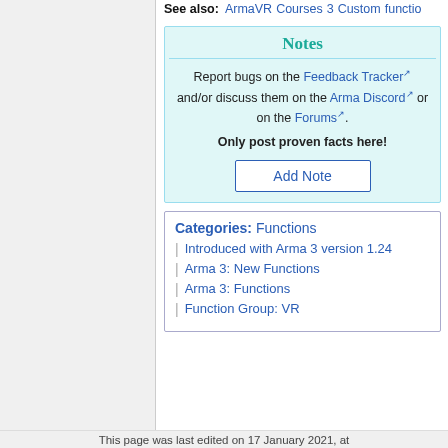See also: ArmaVR 3 Courses Custom functio
Notes
Report bugs on the Feedback Tracker and/or discuss them on the Arma Discord or on the Forums. Only post proven facts here!
Add Note
Categories: Functions | Introduced with Arma 3 version 1.24 | Arma 3: New Functions | Arma 3: Functions | Function Group: VR
This page was last edited on 17 January 2021, at